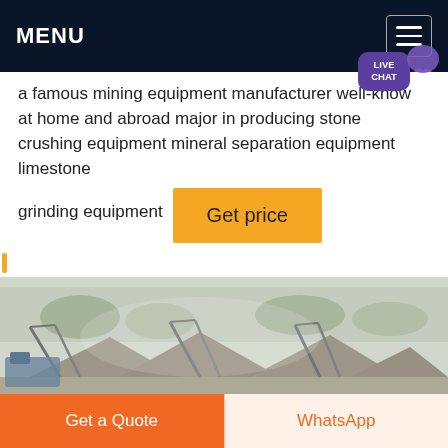MENU
a famous mining equipment manufacturer well-known at home and abroad major in producing stone crushing equipment mineral separation equipment limestone
grinding equipment
Get price
[Figure (photo): Outdoor mining/quarrying facility with industrial conveyor belts, rock crushing equipment, stockpiles of gravel and stone, dusty hazy atmosphere with trees in background.]
Get a Quote
WhatsApp